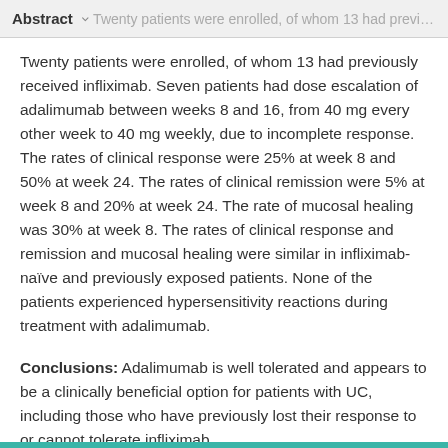Abstract  Twenty patients were enrolled, of whom 13 had previously received infliximab. Seven patients had dose escalation of adalimumab...
Twenty patients were enrolled, of whom 13 had previously received infliximab. Seven patients had dose escalation of adalimumab between weeks 8 and 16, from 40 mg every other week to 40 mg weekly, due to incomplete response. The rates of clinical response were 25% at week 8 and 50% at week 24. The rates of clinical remission were 5% at week 8 and 20% at week 24. The rate of mucosal healing was 30% at week 8. The rates of clinical response and remission and mucosal healing were similar in infliximab-naïve and previously exposed patients. None of the patients experienced hypersensitivity reactions during treatment with adalimumab.
Conclusions: Adalimumab is well tolerated and appears to be a clinically beneficial option for patients with UC, including those who have previously lost their response to or cannot tolerate infliximab.